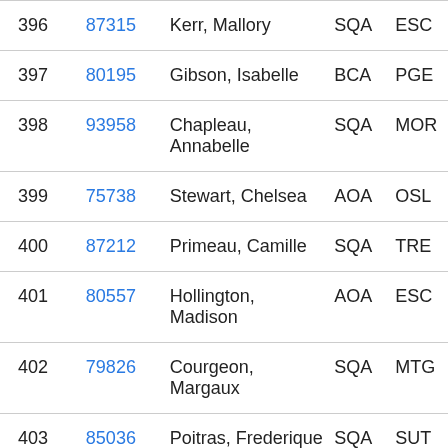| # | ID | Name | Code1 | Code2 |
| --- | --- | --- | --- | --- |
| 396 | 87315 | Kerr, Mallory | SQA | ESC |
| 397 | 80195 | Gibson, Isabelle | BCA | PGE |
| 398 | 93958 | Chapleau, Annabelle | SQA | MOR |
| 399 | 75738 | Stewart, Chelsea | AOA | OSL |
| 400 | 87212 | Primeau, Camille | SQA | TRE |
| 401 | 80557 | Hollington, Madison | AOA | ESC |
| 402 | 79826 | Courgeon, Margaux | SQA | MTG |
| 403 | 85036 | Poitras, Frederique | SQA | SUT |